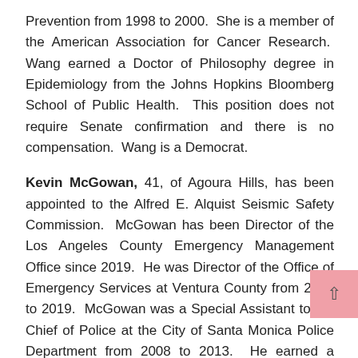Prevention from 1998 to 2000.  She is a member of the American Association for Cancer Research.  Wang earned a Doctor of Philosophy degree in Epidemiology from the Johns Hopkins Bloomberg School of Public Health.  This position does not require Senate confirmation and there is no compensation.  Wang is a Democrat.
Kevin McGowan, 41, of Agoura Hills, has been appointed to the Alfred E. Alquist Seismic Safety Commission.  McGowan has been Director of the Los Angeles County Emergency Management Office since 2019.  He was Director of the Office of Emergency Services at Ventura County from 2013 to 2019.  McGowan was a Special Assistant to the Chief of Police at the City of Santa Monica Police Department from 2008 to 2013.  He earned a Master of Public Policy degree from Pepperdine University.  This position requires Senate confirmation and